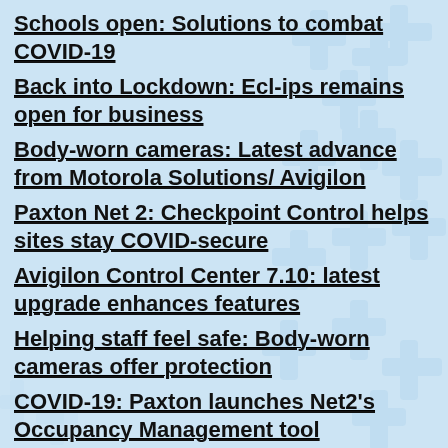Schools open: Solutions to combat COVID-19
Back into Lockdown: Ecl-ips remains open for business
Body-worn cameras: Latest advance from Motorola Solutions/ Avigilon
Paxton Net 2: Checkpoint Control helps sites stay COVID-secure
Avigilon Control Center 7.10: latest upgrade enhances features
Helping staff feel safe: Body-worn cameras offer protection
COVID-19: Paxton launches Net2's Occupancy Management tool
COVID-19: Avigilon Thermal ETD